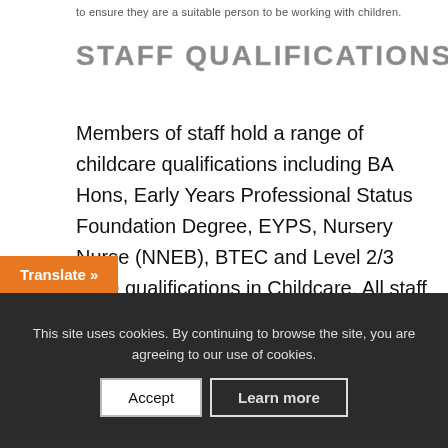to ensure they are a suitable person to be working with children following DBS (Disclosure and Barring Service).
STAFF QUALIFICATIONS
Members of staff hold a range of childcare qualifications including BA Hons, Early Years Professional Status Foundation Degree, EYPS, Nursery Nurse (NNEB), BTEC and Level 2/3 NVQ qualifications in Childcare. All staff are vetted to ensure they are a suitable person to be working with children following DBS (Disclosure and Barring Service).
This site uses cookies. By continuing to browse the site, you are agreeing to our use of cookies.
Accept
Learn more
Translate »